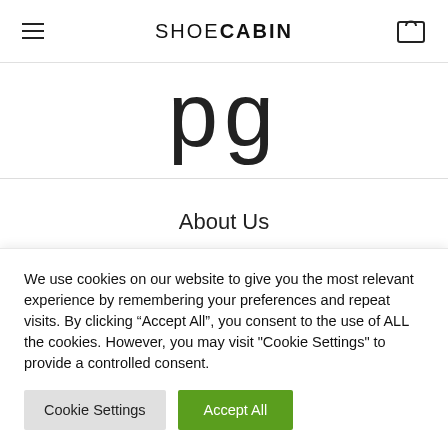SHOECABIN
About Us
Contact
Delivery
We use cookies on our website to give you the most relevant experience by remembering your preferences and repeat visits. By clicking “Accept All”, you consent to the use of ALL the cookies. However, you may visit "Cookie Settings" to provide a controlled consent.